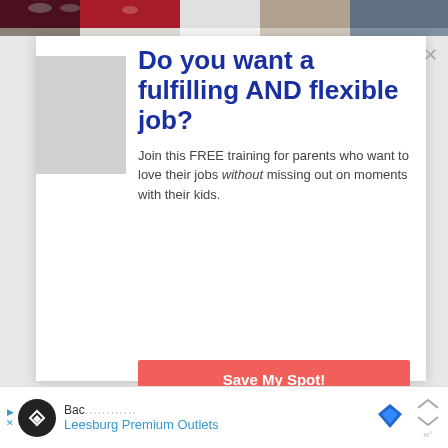[Figure (photo): Cropped photo of colorful sneakers/shoes lined up, showing the tops and soles.]
Do you want a fulfilling AND flexible job?
Join this FREE training for parents who want to love their jobs without missing out on moments with their kids.
Save My Spot!
[Figure (infographic): Advertisement bar at the bottom with black circular logo with diamond icon, text 'Bac... Leesburg Premium Outlets', a blue diamond icon, and navigation arrows.]